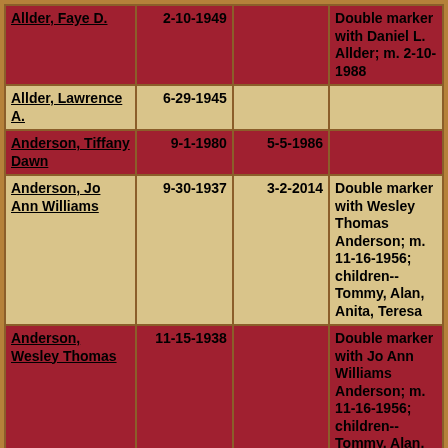| Name | Birth | Death | Notes |
| --- | --- | --- | --- |
| Allder, Faye D. | 2-10-1949 |  | Double marker with Daniel L. Allder; m. 2-10-1988 |
| Allder, Lawrence A. | 6-29-1945 |  |  |
| Anderson, Tiffany Dawn | 9-1-1980 | 5-5-1986 |  |
| Anderson, Jo Ann Williams | 9-30-1937 | 3-2-2014 | Double marker with Wesley Thomas Anderson; m. 11-16-1956; children-- Tommy, Alan, Anita, Teresa |
| Anderson, Wesley Thomas | 11-15-1938 |  | Double marker with Jo Ann Williams Anderson; m. 11-16-1956; children-- Tommy, Alan, Anita, Teresa |
| Bailey, Bonnie Rae | 1-21-1949 | 1-21-1988 |  |